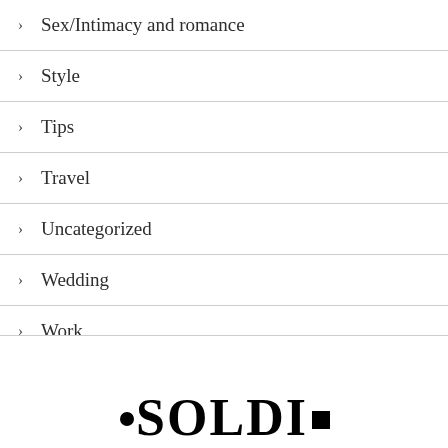Sex/Intimacy and romance
Style
Tips
Travel
Uncategorized
Wedding
Work
SOULDI...